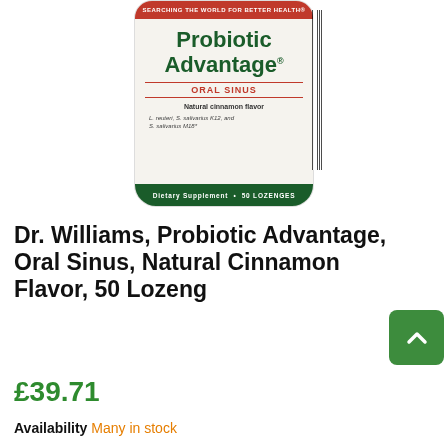[Figure (photo): Product photo of Dr. Williams Probiotic Advantage Oral Sinus supplement bottle. White/cream bottle with red top band reading 'SEARCHING THE WORLD FOR BETTER HEALTH', green brand name 'Probiotic Advantage', red subtitle 'ORAL SINUS', text 'Natural cinnamon flavor', strain names 'L. reuteri, S. salivarius K12, and S. salivarius M18', and a green bottom band reading 'Dietary Supplement • 50 LOZENGES'. Barcode visible on the right side.]
Dr. Williams, Probiotic Advantage, Oral Sinus, Natural Cinnamon Flavor, 50 Lozenges
£39.71
Availability Many in stock